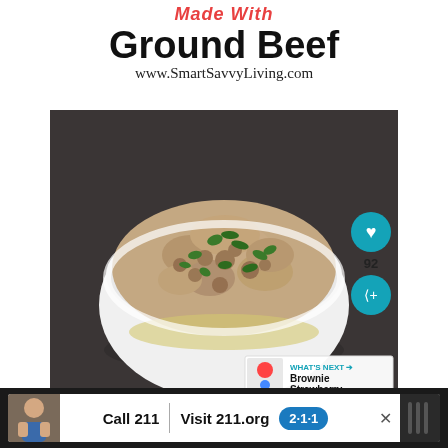Made With Ground Beef
www.SmartSavvyLiving.com
[Figure (photo): A white bowl filled with creamy ground beef stroganoff or gravy mixture topped with chopped green parsley, served over what appears to be scrambled eggs or mashed potatoes, on a dark gray background. The photo includes a heart/like button (92 likes), a share button, and a 'What's Next' overlay showing 'Brownie Strawberry...' with a thumbnail.]
[Figure (infographic): Advertisement banner: Call 211 | Visit 211.org with 2-1-1 badge logo, on dark background with a child photo on the left]